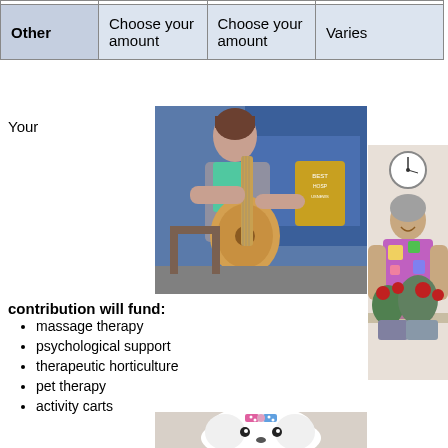|  |  |  |  |
| --- | --- | --- | --- |
| Other | Choose your amount | Choose your amount | Varies |
Your
[Figure (photo): Woman sitting and playing acoustic guitar in front of a Best Hospital US News banner display]
[Figure (photo): Older woman smiling and arranging flowers and plants, with a clock on the wall behind her]
contribution will fund:
massage therapy
psychological support
therapeutic horticulture
pet therapy
activity carts
[Figure (photo): Close-up of a small white fluffy dog with a pink and blue bow on its head]